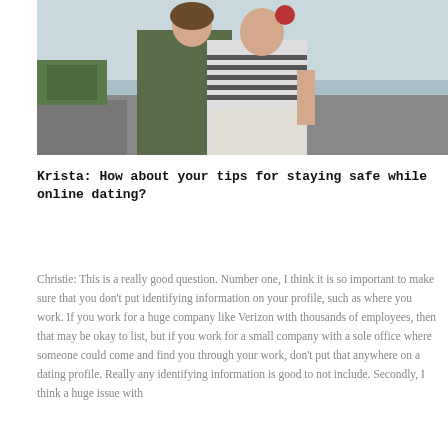[Figure (photo): Two people sitting together outdoors near water, one wearing a striped shirt and the other in a camouflage jacket with a red hat, appearing to be a couple.]
Krista: How about your tips for staying safe while online dating?
Christie: This is a really good question. Number one, I think it is so important to make sure that you don't put identifying information on your profile, such as where you work. If you work for a huge company like Verizon with thousands of employees, then that may be okay to list, but if you work for a small company with a sole office where someone could come and find you through your work, don't put that anywhere on a dating profile. Really any identifying information is good to not include. Secondly, I think a huge issue with